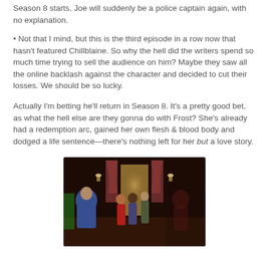Season 8 starts, Joe will suddenly be a police captain again, with no explanation.
Not that I mind, but this is the third episode in a row now that hasn't featured Chillblaine. So why the hell did the writers spend so much time trying to sell the audience on him? Maybe they saw all the online backlash against the character and decided to cut their losses. We should be so lucky.
Actually I'm betting he'll return in Season 8. It's a pretty good bet, as what the hell else are they gonna do with Frost? She's already had a redemption arc, gained her own flesh & blood body and dodged a life sentence—there's nothing left for her but a love story.
[Figure (photo): A scene from a TV show showing several people standing in an ornate room or hallway. A figure in a blue jacket is seen from behind on the left, several people are gathered in the center near a doorway with curtains and warm lighting.]